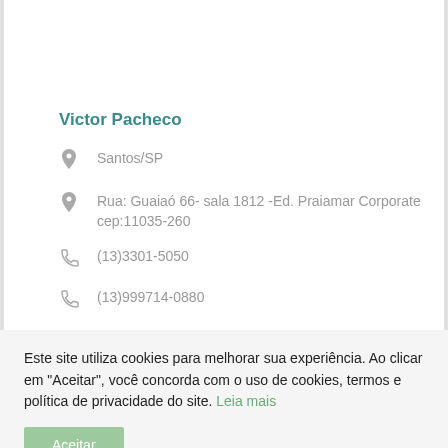Victor Pacheco
Santos/SP
Rua: Guaiaó 66- sala 1812 -Ed. Praiamar Corporate cep:11035-260
(13)3301-5050
(13)999714-0880
Este site utiliza cookies para melhorar sua experiência. Ao clicar em "Aceitar", você concorda com o uso de cookies, termos e política de privacidade do site. Leia mais
Aceitar